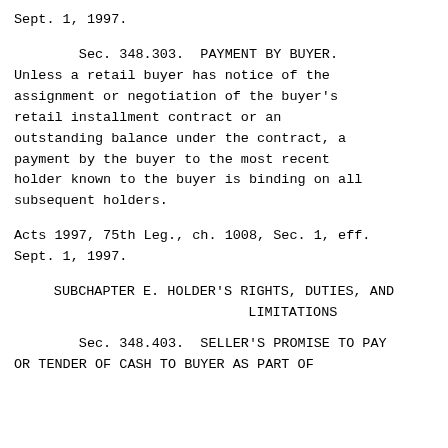Sept. 1, 1997.
Sec. 348.303.  PAYMENT BY BUYER. Unless a retail buyer has notice of the assignment or negotiation of the buyer's retail installment contract or an outstanding balance under the contract, a payment by the buyer to the most recent holder known to the buyer is binding on all subsequent holders.
Acts 1997, 75th Leg., ch. 1008, Sec. 1, eff. Sept. 1, 1997.
SUBCHAPTER E. HOLDER'S RIGHTS, DUTIES, AND LIMITATIONS
Sec. 348.403.  SELLER'S PROMISE TO PAY OR TENDER OF CASH TO BUYER AS PART OF